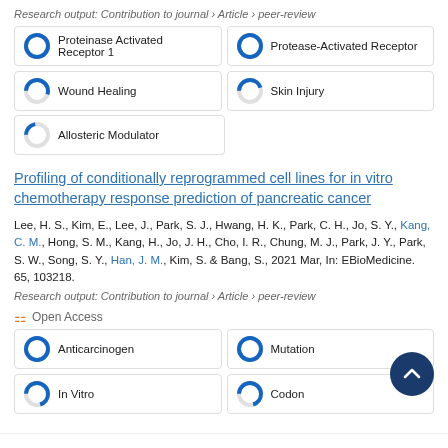Research output: Contribution to journal › Article › peer-review
[Figure (infographic): Keyword badges with donut chart icons: Proteinase Activated Receptor 1 (100%), Protease-Activated Receptor (100%), Wound Healing (~55%), Skin Injury (~45%), Allosteric Modulator (~22%)]
Profiling of conditionally reprogrammed cell lines for in vitro chemotherapy response prediction of pancreatic cancer
Lee, H. S., Kim, E., Lee, J., Park, S. J., Hwang, H. K., Park, C. H., Jo, S. Y., Kang, C. M., Hong, S. M., Kang, H., Jo, J. H., Cho, I. R., Chung, M. J., Park, J. Y., Park, S. W., Song, S. Y., Han, J. M., Kim, S. & Bang, S., 2021 Mar, In: EBioMedicine. 65, 103218.
Research output: Contribution to journal › Article › peer-review
Open Access
[Figure (infographic): Keyword badges with donut chart icons: Anticarcinogen (100%), Mutation (100%), In Vitro (~70%), Codon (~70%)]